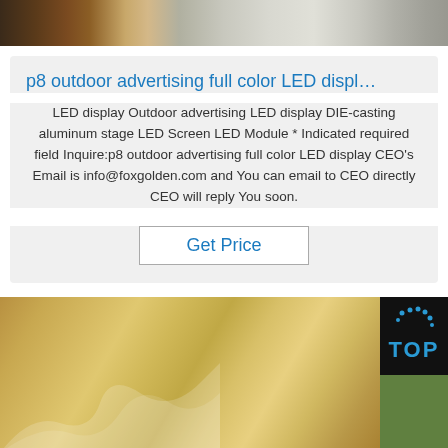[Figure (photo): Top cropped image showing texture samples including dark wood grain, granite/stone texture with speckled pattern, and light beige material]
p8 outdoor advertising full color LED displ…
LED display Outdoor advertising LED display DIE-casting aluminum stage LED Screen LED Module * Indicated required field Inquire:p8 outdoor advertising full color LED display CEO's Email is info@foxgolden.com and You can email to CEO directly CEO will reply You soon.
Get Price
[Figure (photo): Bottom image showing golden/bronze brushed metallic texture on the left with white smoke/wave design element, and dark black panel with blue TOP logo on the right side, and green panel below the dark panel]